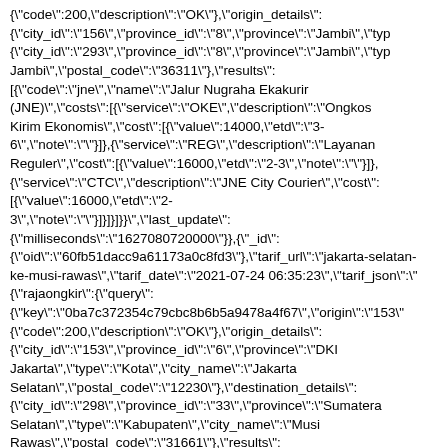{"code":200,"description":"OK"},"origin_details": {"city_id":"156","province_id":"8","province":"Jambi","typ {"city_id":"293","province_id":"8","province":"Jambi","typ Jambi","postal_code":"36311"},"results": [{"code":"jne","name":"Jalur Nugraha Ekakurir (JNE)","costs":[{"service":"OKE","description":"Ongkos Kirim Ekonomis","cost":[{"value":14000,"etd":"3-6","note":""}]},{"service":"REG","description":"Layanan Reguler","cost":[{"value":16000,"etd":"2-3","note":""}]}, {"service":"CTC","description":"JNE City Courier","cost": [{"value":16000,"etd":"2-3","note":""}]}]}]}}","last_update": {"milliseconds":"1627080720000"}},{"_id": {"oid":"60fb51dacc9a61173a0c8fd3"},"tarif_url":"jakarta-selatan-ke-musi-rawas","tarif_date":"2021-07-24 06:35:23","tarif_json":" {"rajaongkir":{"query": {"key":"0ba7c372354c79cbc8b6b5a9478a4f67","origin":"153" {"code":200,"description":"OK"},"origin_details": {"city_id":"153","province_id":"6","province":"DKI Jakarta","type":"Kota","city_name":"Jakarta Selatan","postal_code":"12230"},"destination_details": {"city_id":"298","province_id":"33","province":"Sumatera Selatan","type":"Kabupaten","city_name":"Musi Rawas","postal_code":"31661"},"results": [{"code":"jne","name":"Jalur Nugraha Ekakurir